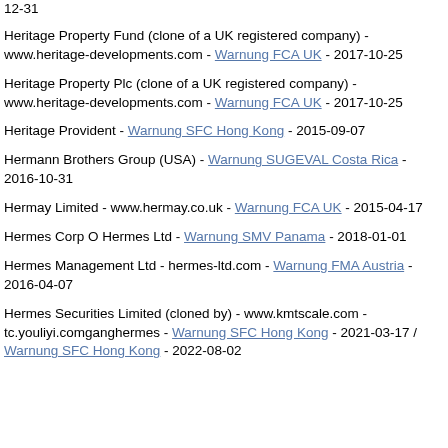12-31
Heritage Property Fund (clone of a UK registered company) - www.heritage-developments.com - Warnung FCA UK - 2017-10-25
Heritage Property Plc (clone of a UK registered company) - www.heritage-developments.com - Warnung FCA UK - 2017-10-25
Heritage Provident - Warnung SFC Hong Kong - 2015-09-07
Hermann Brothers Group (USA) - Warnung SUGEVAL Costa Rica - 2016-10-31
Hermay Limited - www.hermay.co.uk - Warnung FCA UK - 2015-04-17
Hermes Corp O Hermes Ltd - Warnung SMV Panama - 2018-01-01
Hermes Management Ltd - hermes-ltd.com - Warnung FMA Austria - 2016-04-07
Hermes Securities Limited (cloned by) - www.kmtscale.com - tc.youliyi.comganghermes - Warnung SFC Hong Kong - 2021-03-17 / Warnung SFC Hong Kong - 2022-08-02